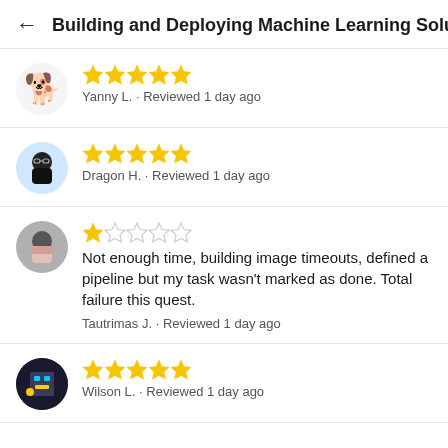← Building and Deploying Machine Learning Solu
★★★★★
Yanny L. · Reviewed 1 day ago
★★★★★
Dragon H. · Reviewed 1 day ago
★☆☆☆☆
Not enough time, building image timeouts, defined a pipeline but my task wasn't marked as done. Total failure this quest.
Tautrimas J. · Reviewed 1 day ago
★★★★★
Wilson L. · Reviewed 1 day ago